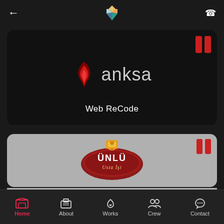[Figure (screenshot): Mobile app top navigation bar with back arrow, colorful gem/crystal logo, and phone icon]
[Figure (logo): Anksa brand card with dark background, red flame logo, 'anksa' text, and 'Web ReCode' subtitle with pause button icon]
[Figure (logo): Unlu brand card with gray background, Unlu oval badge logo, and partial text 'Local Search Engine Marketing' with pause button icon]
[Figure (screenshot): Mobile app bottom navigation bar with Home (active/red), About, Works, Crew, Contact icons]